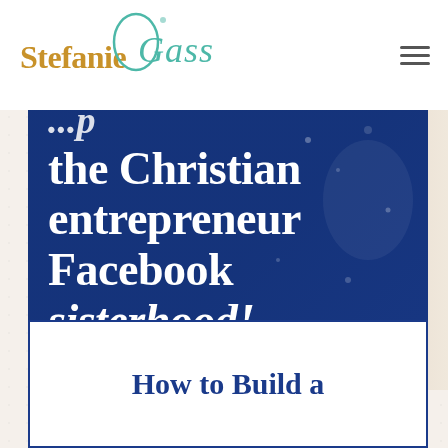[Figure (logo): Stefanie Gass logo with gold 'Stefanie' text and teal cursive 'Gass' script]
[Figure (illustration): Blue banner image with white bold serif text reading 'the Christian entrepreneur Facebook sisterhood!' with a partial first line cut off at top, overlaid on a dark blue background with a decorative figure silhouette on the right side]
How to Build a